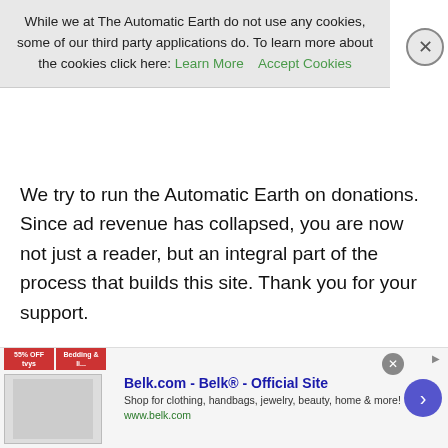While we at The Automatic Earth do not use any cookies, some of our third party applications do. To learn more about the cookies click here: Learn More   Accept Cookies
We try to run the Automatic Earth on donations. Since ad revenue has collapsed, you are now not just a reader, but an integral part of the process that builds this site. Thank you for your support.
[Figure (illustration): Calvin and Hobbes comic strip with four panels. Panel 1: A bee landed on your back! Panel 2: A bee?! Acckk! Get it away!! Panel 3: Don't move, and it won't sting you. Just stand still and try not to imagine that it might very well crawl down your shirt and into your pants! Panel 4: He imagined it. (with YOWW!)]
[Figure (screenshot): Belk.com advertisement banner: Belk® - Official Site. Shop for clothing, handbags, jewelry, beauty, home & more! www.belk.com]